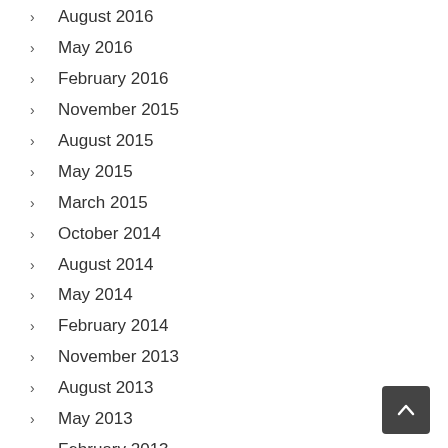August 2016
May 2016
February 2016
November 2015
August 2015
May 2015
March 2015
October 2014
August 2014
May 2014
February 2014
November 2013
August 2013
May 2013
February 2013
November 2012
September 2012
July 2012